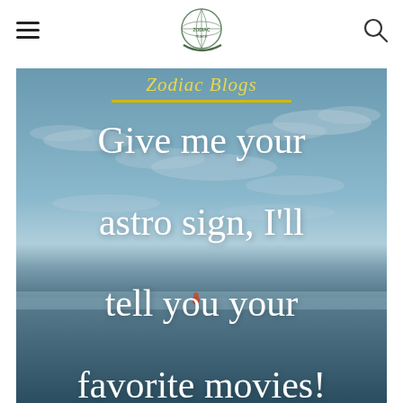Zodiac Blogs
[Figure (photo): A scenic ocean/beach photo with a blue cloudy sky, calm sea, and a small figure in the distance. Overlaid with white serif text reading: Give me your astro sign, I'll tell you your favorite movies!]
Give me your astro sign, I'll tell you your favorite movies!